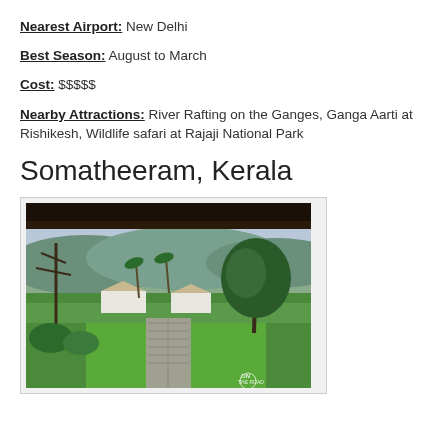Nearest Airport: New Delhi
Best Season: August to March
Cost: $$$$$
Nearby Attractions: River Rafting on the Ganges, Ganga Aarti at Rishikesh, Wildlife safari at Rajaji National Park
Somatheeram, Kerala
[Figure (photo): View from a covered porch looking out over a lush green property with palm trees, large trees, white cottage buildings with thatched roofs, a stone pathway, manicured lawn, and blue-green hills in the background under a cloudy sky. Watermark reads 'On the Road' in bottom right corner.]